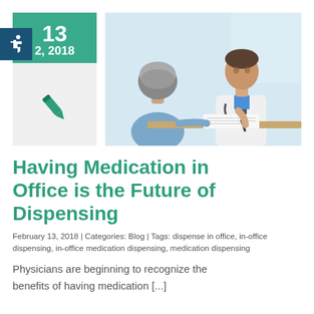[Figure (photo): Doctor in white coat consulting with a patient at a desk, writing on paper. Photo on right side. Left side has a teal calendar date block showing '13' and '2, 2018', a dark blue accessibility/wheelchair icon, and a teal pencil icon on a light gray background.]
Having Medication in Office is the Future of Dispensing
February 13, 2018 | Categories: Blog | Tags: dispense in office, in-office dispensing, in-office medication dispensing, medication dispensing
Physicians are beginning to recognize the benefits of having medication [...]